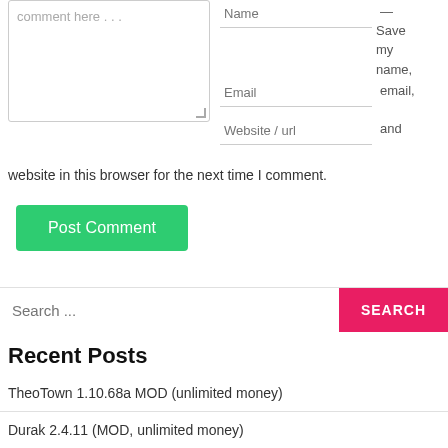[Figure (screenshot): Comment form with textarea placeholder 'comment here...', Name input field, Email input field, Website/url input field, and Save my name, email, and website text]
website in this browser for the next time I comment.
Post Comment
Search ...
Recent Posts
TheoTown 1.10.68a MOD (unlimited money)
Durak 2.4.11 (MOD, unlimited money)